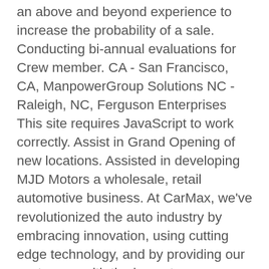an above and beyond experience to increase the probability of a sale. Conducting bi-annual evaluations for Crew member. CA - San Francisco, CA, ManpowerGroup Solutions NC - Raleigh, NC, Ferguson Enterprises This site requires JavaScript to work correctly. Assist in Grand Opening of new locations. Assisted in developing MJD Motors a wholesale, retail automotive business. At CarMax, we've revolutionized the auto industry by embracing innovation, using cutting edge technology, and by providing our customers with the honest, straightforward experience they deserve. We've created an environment where people come first, and others have noticed. Maintain a working knowledge of various vehicles make, model, and options. Analyze specific documents including w2's, bank statements, utility bills, and paycheck stubs to meet lenders stipulation requirements. | OK - Oklahoma City, OK, Hendrick Automotive Group VA - Richmond, VA, O'Reilly Auto Parts Assist customers to determine vehicle appraisal value. Train new hire Sales Consultants. | Stay informed and connected with our talent network emails. | NC - Hickory, NC, International Business Concepts WI - Sturtevant, WI, Flynn Restaurant Group Car